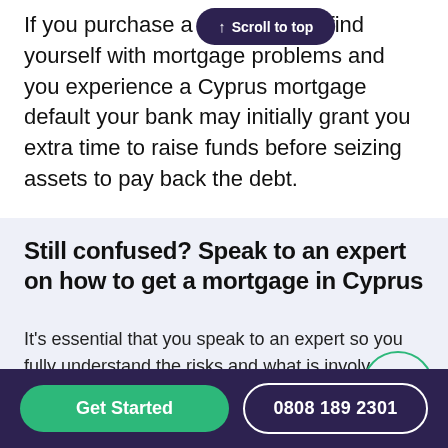If you purchase a property and find yourself with mortgage problems and you experience a Cyprus mortgage default your bank may initially grant you extra time to raise funds before seizing assets to pay back the debt.
Still confused? Speak to an expert on how to get a mortgage in Cyprus
It's essential that you speak to an expert so you fully understand the risks and what is involved.
Every mortgage application is accessed on indiv...
Get Started
0808 189 2301